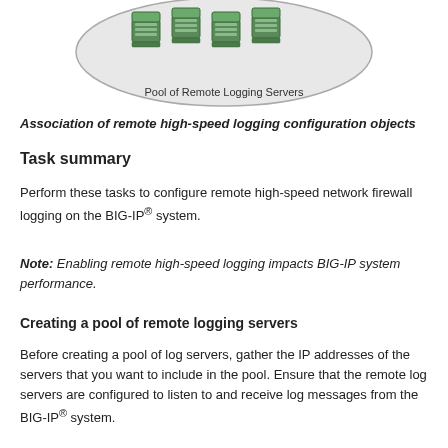[Figure (illustration): Diagram showing a Pool of Remote Logging Servers with server icons inside an oval shape]
Association of remote high-speed logging configuration objects
Task summary
Perform these tasks to configure remote high-speed network firewall logging on the BIG-IP® system.
Note: Enabling remote high-speed logging impacts BIG-IP system performance.
Creating a pool of remote logging servers
Before creating a pool of log servers, gather the IP addresses of the servers that you want to include in the pool. Ensure that the remote log servers are configured to listen to and receive log messages from the BIG-IP® system.
Create a pool of remote log servers to which the BIG-IP system can send log messages.